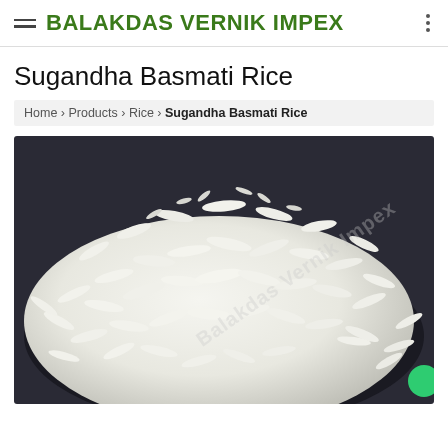BALAKDAS VERNIK IMPEX
Sugandha Basmati Rice
Home › Products › Rice › Sugandha Basmati Rice
[Figure (photo): A large pile of long-grain Sugandha Basmati Rice grains on a dark background, with a watermark reading 'Balakdas Vernik Impex']